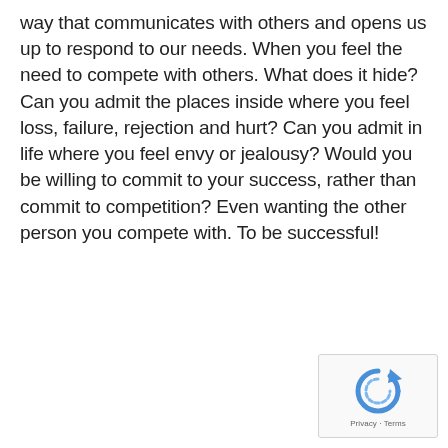way that communicates with others and opens us up to respond to our needs. When you feel the need to compete with others. What does it hide? Can you admit the places inside where you feel loss, failure, rejection and hurt? Can you admit in life where you feel envy or jealousy? Would you be willing to commit to your success, rather than commit to competition? Even wanting the other person you compete with. To be successful!
[Figure (other): reCAPTCHA widget showing a circular arrow logo and Privacy · Terms footer text]